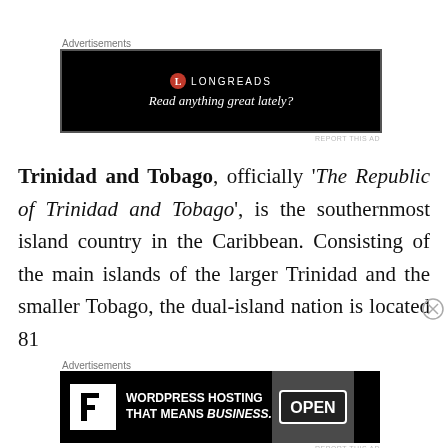[Figure (screenshot): Longreads advertisement banner with black background, red L icon and text 'LONGREADS', tagline 'Read anything great lately?']
Trinidad and Tobago, officially 'The Republic of Trinidad and Tobago', is the southernmost island country in the Caribbean. Consisting of the main islands of the larger Trinidad and the smaller Tobago, the dual-island nation is located 81
[Figure (screenshot): WordPress Hosting advertisement: 'WORDPRESS HOSTING THAT MEANS BUSINESS.' with P logo and OPEN sign photo]